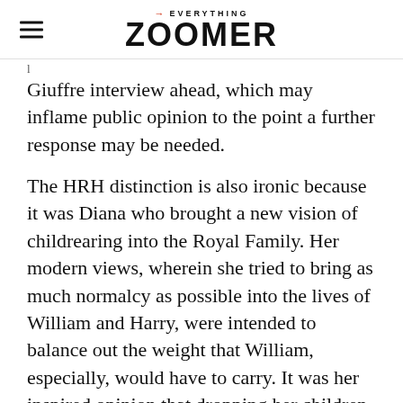→EVERYTHING ZOOMER
Giuffre interview ahead, which may inflame public opinion to the point a further response may be needed.
The HRH distinction is also ironic because it was Diana who brought a new vision of childrearing into the Royal Family. Her modern views, wherein she tried to bring as much normalcy as possible into the lives of William and Harry, were intended to balance out the weight that William, especially, would have to carry. It was her inspired opinion that dropping her children at school every